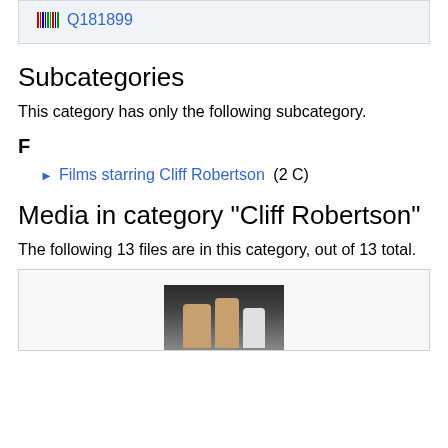Q181899
Subcategories
This category has only the following subcategory.
F
Films starring Cliff Robertson (2 C)
Media in category "Cliff Robertson"
The following 13 files are in this category, out of 13 total.
[Figure (photo): Photograph of people, partially visible at the bottom of the page]